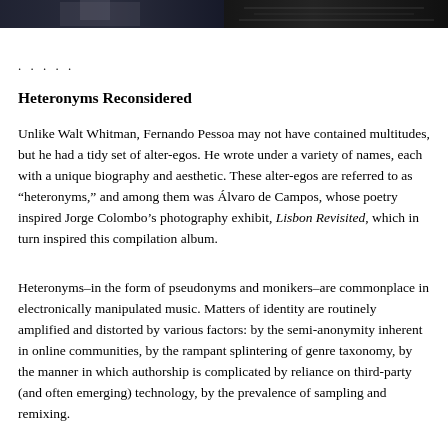[Figure (photo): Two dark photographic images side by side at top of page, appearing to be urban or industrial scenes in dark tones]
. . . . .
Heteronyms Reconsidered
Unlike Walt Whitman, Fernando Pessoa may not have contained multitudes, but he had a tidy set of alter-egos. He wrote under a variety of names, each with a unique biography and aesthetic. These alter-egos are referred to as “heteronyms,” and among them was Álvaro de Campos, whose poetry inspired Jorge Colombo’s photography exhibit, Lisbon Revisited, which in turn inspired this compilation album.
Heteronyms–in the form of pseudonyms and monikers–are commonplace in electronically manipulated music. Matters of identity are routinely amplified and distorted by various factors: by the semi-anonymity inherent in online communities, by the rampant splintering of genre taxonomy, by the manner in which authorship is complicated by reliance on third-party (and often emerging) technology, by the prevalence of sampling and remixing.